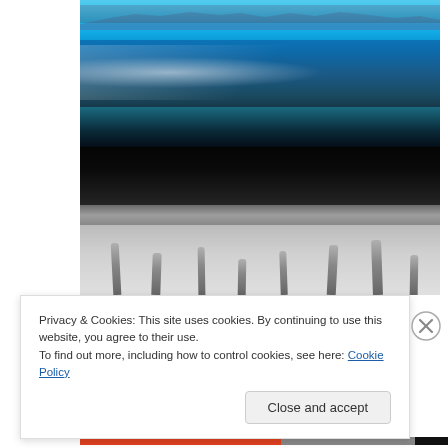[Figure (photo): Two-panel photo composition: top panel shows a vivid blue lake or bay with mountain silhouette in background and reflective water surface; bottom panel is black and white showing a dark sky above a salt flat or dry lakebed with wooden posts/pilings sticking up from the ground.]
Privacy & Cookies: This site uses cookies. By continuing to use this website, you agree to their use.
To find out more, including how to control cookies, see here: Cookie Policy
Close and accept